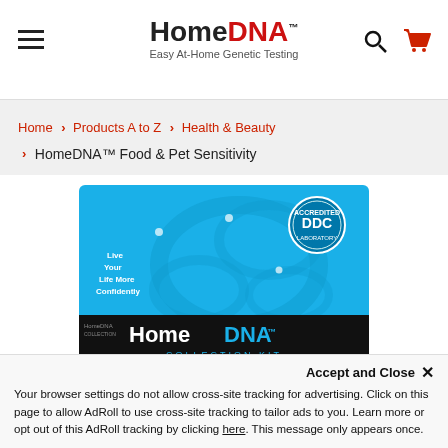HomeDNA™ Easy At-Home Genetic Testing
Home > Products A to Z > Health & Beauty > HomeDNA™ Food & Pet Sensitivity
[Figure (photo): HomeDNA Collection Kit product box in blue with DDC Accredited Laboratory seal]
Accept and Close ✕ Your browser settings do not allow cross-site tracking for advertising. Click on this page to allow AdRoll to use cross-site tracking to tailor ads to you. Learn more or opt out of this AdRoll tracking by clicking here. This message only appears once.